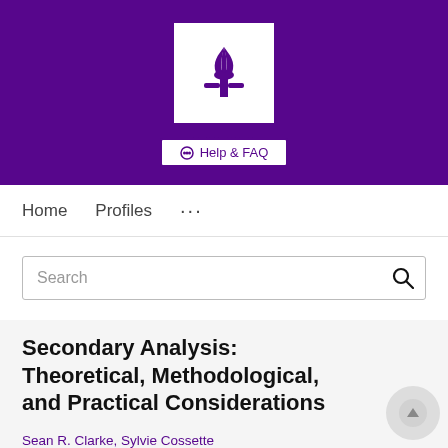[Figure (logo): NYU torch logo in white box on purple background with NYU text, plus Help & FAQ button]
Home   Profiles   ...
Search
Secondary Analysis: Theoretical, Methodological, and Practical Considerations
Sean R. Clarke, Sylvie Cossette